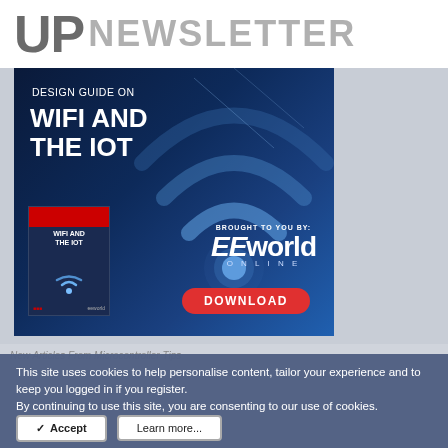UP NEWSLETTER
[Figure (illustration): Advertisement banner for EEworld Online Design Guide on WiFi and the IoT. Dark blue background with glowing WiFi signal arcs on the right. Left side shows text 'DESIGN GUIDE ON WIFI AND THE IOT', a book cover with same title and a WiFi icon. Bottom right shows 'BROUGHT TO YOU BY: EEworld ONLINE' logo and a red DOWNLOAD button.]
New Articles From Microcontroller Tips
This site uses cookies to help personalise content, tailor your experience and to keep you logged in if you register.
By continuing to use this site, you are consenting to our use of cookies.
✓ Accept
Learn more...